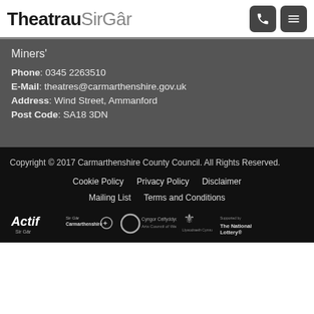TheatrauSirGâr
Miners'
Phone: 0345 2263510
E-Mail: theatres@carmarthenshire.gov.uk
Address: Wind Street, Ammanford
Post Code: SA18 3DN
Copyright © 2017 Carmarthenshire County Council. All Rights Reserved.
Cookie Policy  Privacy Policy  Disclaimer
Mailing List  Terms and Conditions